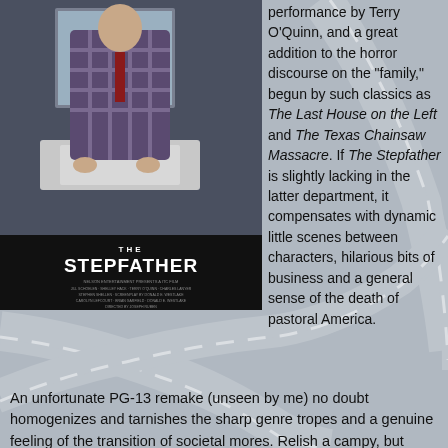[Figure (photo): Movie poster for 'The Stepfather' showing a man in a plaid shirt leaning over a bathroom sink, with the title displayed prominently below]
performance by Terry O'Quinn, and a great addition to the horror discourse on the "family," begun by such classics as The Last House on the Left and The Texas Chainsaw Massacre. If The Stepfather is slightly lacking in the latter department, it compensates with dynamic little scenes between characters, hilarious bits of business and a general sense of the death of pastoral America.
An unfortunate PG-13 remake (unseen by me) no doubt homogenizes and tarnishes the sharp genre tropes and a genuine feeling of the transition of societal mores. Relish a campy, but heartfelt scene where the psychotic Quinn sentimentally watches a young family, who greet the father as he arrives home from work. It has an air of surrealism, his illogical and idealistic family hierarchy now usurped by unruly kids, transgressing boyfriends and distrustful wives. His